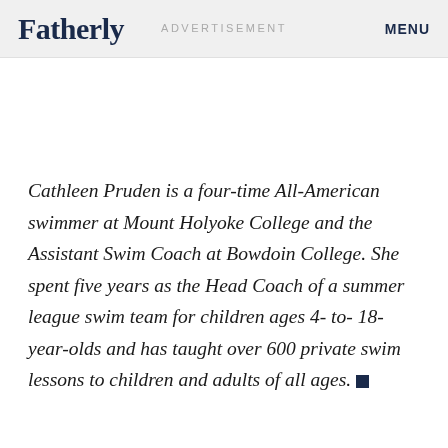Fatherly   ADVERTISEMENT   MENU
Cathleen Pruden is a four-time All-American swimmer at Mount Holyoke College and the Assistant Swim Coach at Bowdoin College. She spent five years as the Head Coach of a summer league swim team for children ages 4- to- 18-year-olds and has taught over 600 private swim lessons to children and adults of all ages.